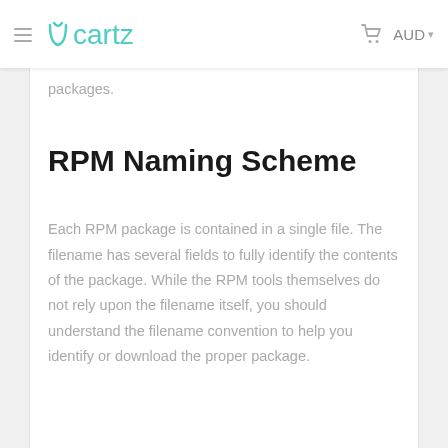Ucartz — AUD
packages.
RPM Naming Scheme
Each RPM package is contained in a single file. The filename has several fields to fully identify the contents of the package. While the RPM tools themselves do not rely upon the filename itself, you should understand the filename convention to help you identify or download the proper package.